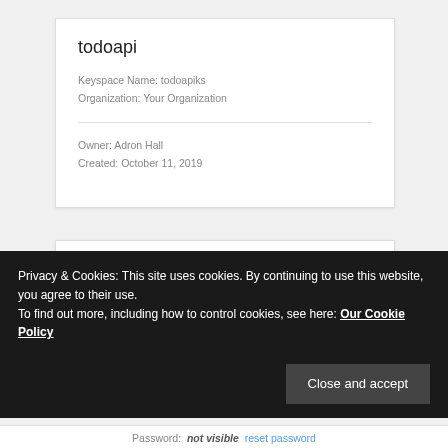todoapi
Keyspace Name: todoapiks
Organization: Your Organization
Owner: Adron Hall
Created: October 11, 2019
Connection Details
Start Coding Now
Privacy & Cookies: This site uses cookies. By continuing to use this website, you agree to their use.
To find out more, including how to control cookies, see here: Our Cookie Policy
Close and accept
Password:  not visible  reset password